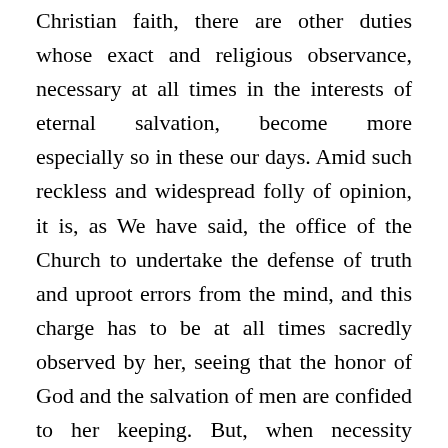Christian faith, there are other duties whose exact and religious observance, necessary at all times in the interests of eternal salvation, become more especially so in these our days. Amid such reckless and widespread folly of opinion, it is, as We have said, the office of the Church to undertake the defense of truth and uproot errors from the mind, and this charge has to be at all times sacredly observed by her, seeing that the honor of God and the salvation of men are confided to her keeping. But, when necessity compels, not those only who are invested with power of rule are bound to safeguard the integrity of faith, but, as St. Thomas maintains: "Each one is under obligation to show forth his faith either to instruct and